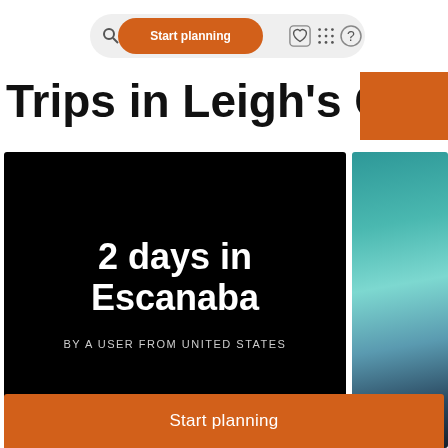Start planning  activities
Trips in Leigh's Guide
[Figure (screenshot): Dark card showing trip: 2 days in Escanaba, by a user from United States]
[Figure (photo): Partial second card with teal/ocean background, BY A... text visible]
Start planning